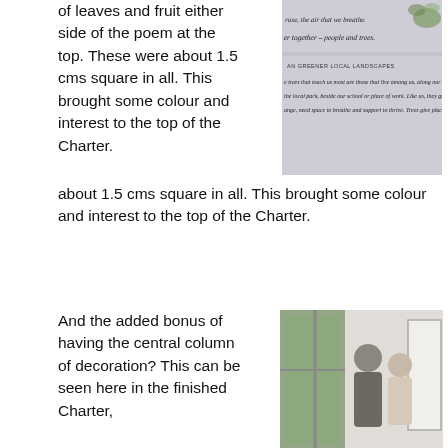of leaves and fruit either side of the poem at the top. These were about 1.5 cms square in all. This brought some colour and interest to the top of the Charter.
[Figure (photo): A calligraphy charter with text about greener local landscapes, showing italic handwritten text and some illustrated botanical elements.]
And the added bonus of having the central column of decoration? This can be seen here in the finished Charter,
[Figure (photo): Two people standing in a room, a man and a woman, near a window and a whiteboard.]